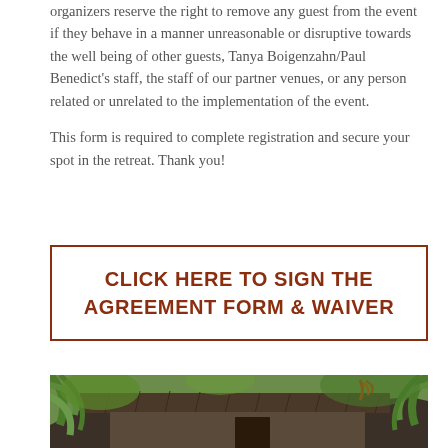organizers reserve the right to remove any guest from the event if they behave in a manner unreasonable or disruptive towards the well being of other guests, Tanya Boigenzahn/Paul Benedict's staff, the staff of our partner venues, or any person related or unrelated to the implementation of the event.

This form is required to complete registration and secure your spot in the retreat. Thank you!
CLICK HERE TO SIGN THE AGREEMENT FORM & WAIVER
[Figure (photo): Tropical retreat building with dark tiled roof surrounded by lush green palm trees and tropical foliage with red flower visible]